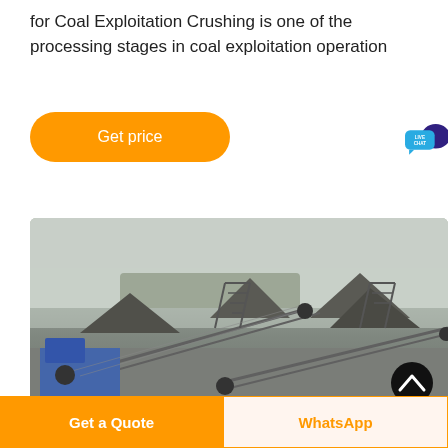for Coal Exploitation Crushing is one of the processing stages in coal exploitation operation
[Figure (illustration): Orange rounded button labeled 'Get price']
[Figure (illustration): Live chat speech bubble icon with teal background and dark purple chat icon]
[Figure (photo): Aerial view of a coal crushing plant with conveyor belts, steel frame structures, and large piles of coal/aggregate material. Industrial site with dusty hazy atmosphere.]
[Figure (illustration): Black circular scroll-to-top button with upward chevron arrow]
[Figure (illustration): Bottom navigation bar with orange 'Get a Quote' button on left and light orange 'WhatsApp' button on right]